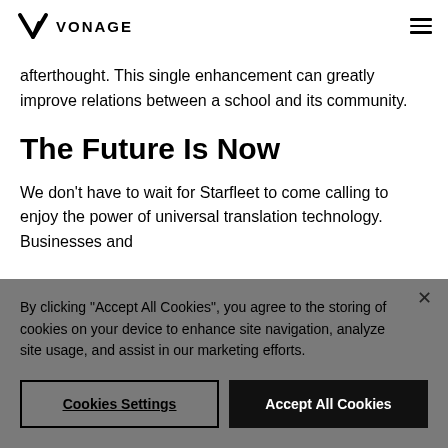VONAGE
afterthought. This single enhancement can greatly improve relations between a school and its community.
The Future Is Now
We don't have to wait for Starfleet to come calling to enjoy the power of universal translation technology. Businesses and
By clicking "Accept All Cookies", you agree to the storing of cookies on your device to enhance site navigation, analyze site usage, and assist in our marketing efforts.